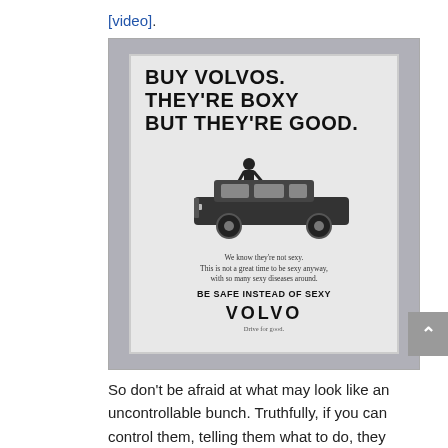[video].
[Figure (photo): A photograph of a vintage Volvo print advertisement reading: 'BUY VOLVOS. THEY'RE BOXY BUT THEY'RE GOOD.' with an image of a man standing beside a Volvo car, followed by small body text, 'BE SAFE INSTEAD OF SEXY', and the VOLVO logo with tagline.]
So don't be afraid at what may look like an uncontrollable bunch. Truthfully, if you can control them, telling them what to do, they probably aren't very good, or that creative.